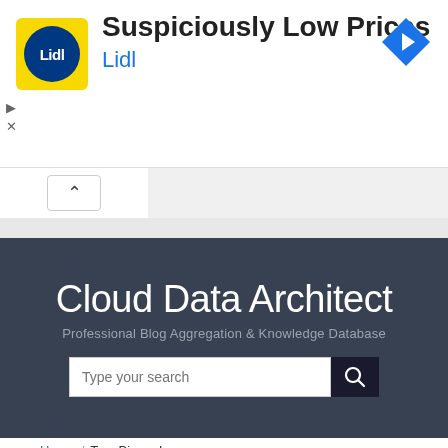[Figure (screenshot): Lidl advertisement banner with yellow logo box containing blue circle with Lidl text, headline 'Suspiciously Low Prices', subtext 'Lidl', blue diamond arrow icon top right, and ad controls (play/close) on left side]
[Figure (screenshot): Cloud Data Architect website header with dark gray background, white site title 'Cloud Data Architect', gray subtitle 'Professional Blog Aggregation & Knowledge Database', and a search bar with dark search button]
Home / Tag: Binary Log
Posts tagged Binary Log